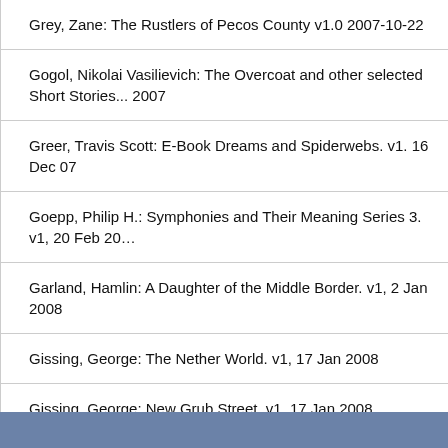Grey, Zane: The Rustlers of Pecos County v1.0 2007-10-22
Gogol, Nikolai Vasilievich: The Overcoat and other selected Short Stories... 2007
Greer, Travis Scott: E-Book Dreams and Spiderwebs. v1. 16 Dec 07
Goepp, Philip H.: Symphonies and Their Meaning Series 3. v1, 20 Feb 20...
Garland, Hamlin: A Daughter of the Middle Border. v1, 2 Jan 2008
Gissing, George: The Nether World. v1, 17 Jan 2008
Gissing, George: New Grub Street. v1, 17 Jan 2008
Grant, Ulysses: State of the Union. IMP v1.0, 13 October 2007
Grey, Zane: The Rustlers of Pecos County. IMP. v1.0 2007-10-22
Garland, Hamlin: A Daughter of the Middle Border. v1, 2 Jan 2008